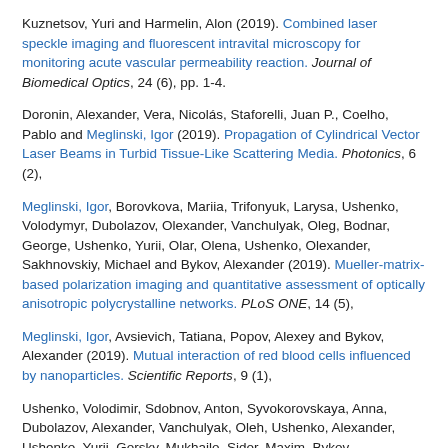Kuznetsov, Yuri and Harmelin, Alon (2019). Combined laser speckle imaging and fluorescent intravital microscopy for monitoring acute vascular permeability reaction. Journal of Biomedical Optics, 24 (6), pp. 1-4.
Doronin, Alexander, Vera, Nicolás, Staforelli, Juan P., Coelho, Pablo and Meglinski, Igor (2019). Propagation of Cylindrical Vector Laser Beams in Turbid Tissue-Like Scattering Media. Photonics, 6 (2),
Meglinski, Igor, Borovkova, Mariia, Trifonyuk, Larysa, Ushenko, Volodymyr, Dubolazov, Olexander, Vanchulyak, Oleg, Bodnar, George, Ushenko, Yurii, Olar, Olena, Ushenko, Olexander, Sakhnovskiy, Michael and Bykov, Alexander (2019). Mueller-matrix-based polarization imaging and quantitative assessment of optically anisotropic polycrystalline networks. PLoS ONE, 14 (5),
Meglinski, Igor, Avsievich, Tatiana, Popov, Alexey and Bykov, Alexander (2019). Mutual interaction of red blood cells influenced by nanoparticles. Scientific Reports, 9 (1),
Ushenko, Volodimir, Sdobnov, Anton, Syvokorovskaya, Anna, Dubolazov, Alexander, Vanchulyak, Oleh, Ushenko, Alexander, Ushenko, Yurii, Gorsky, Mukhailo, Sidor, Maxim, Bykov,